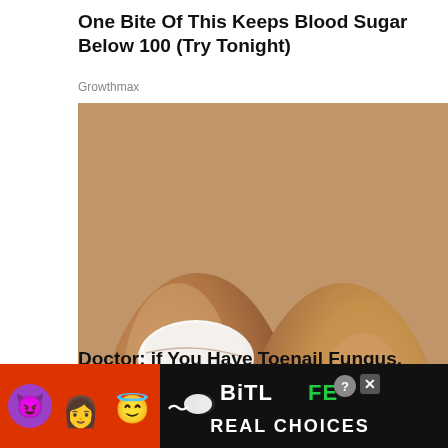One Bite Of This Keeps Blood Sugar Below 100 (Try Tonight)
Growthmax
[Figure (photo): Close-up illustration of two toes with toenail fungus being treated with a white cream applied by a blue pen/applicator tool, on a light background.]
Doctor: if You Have Toenail Fungus, Do This Immediately (Genius!)
Health Benefits
[Figure (screenshot): BitLife advertisement banner with emoji characters (devil, woman, angel, pill) on a red and black background reading REAL CHOICES with a question mark and X button.]